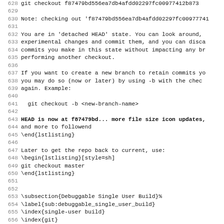Source code / terminal output showing git checkout commands and LaTeX source lines 628-659